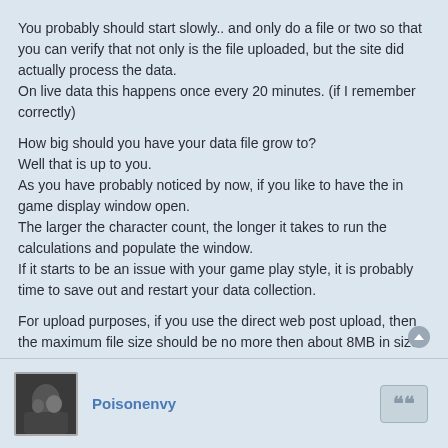You probably should start slowly.. and only do a file or two so that you can verify that not only is the file uploaded, but the site did actually process the data.
On live data this happens once every 20 minutes. (if I remember correctly)
How big should you have your data file grow to?
Well that is up to you.
As you have probably noticed by now, if you like to have the in game display window open.
The larger the character count, the longer it takes to run the calculations and populate the window.
If it starts to be an issue with your game play style, it is probably time to save out and restart your data collection.
For upload purposes, if you use the direct web post upload, then the maximum file size should be no more then about 8MB in size.
If you use the third party UniUploader (see other forum posts in regards to this.) then the file can easily be allowed to grow to 20MB in site.
Poisonenvy